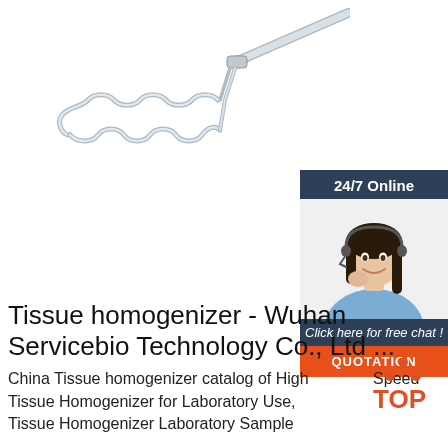[Figure (photo): A tissue homogenizer tool — a coiled wire whisk-like instrument with a stainless steel handle, shown on white background.]
[Figure (illustration): 24/7 Online chat widget with a woman wearing a headset, dark blue background, 'Click here for free chat!' text, and orange QUOTATION button.]
[Figure (logo): TOP logo with orange dots arranged in a triangle above the word TOP in orange.]
Tissue homogenizer - Wuhan Servicebio Technology Co., Ltd ...
China Tissue homogenizer catalog of High Speed Tissue Homogenizer for Laboratory Use, Tissue Homogenizer Laboratory Sample